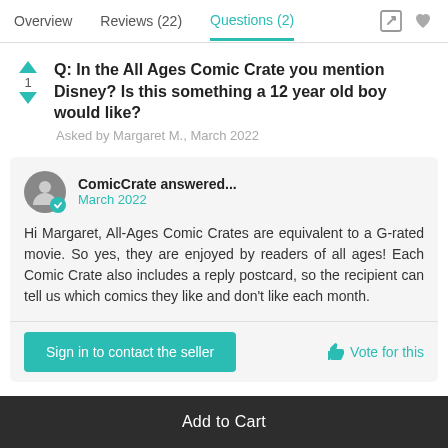Overview  Reviews (22)  Questions (2)
Q: In the All Ages Comic Crate you mention Disney? Is this something a 12 year old boy would like?
Asked by Margaret M., March 2022
ComicCrate answered... March 2022
Hi Margaret, All-Ages Comic Crates are equivalent to a G-rated movie. So yes, they are enjoyed by readers of all ages! Each Comic Crate also includes a reply postcard, so the recipient can tell us which comics they like and don't like each month.
Sign in to contact the seller
Vote for this
Add to Cart